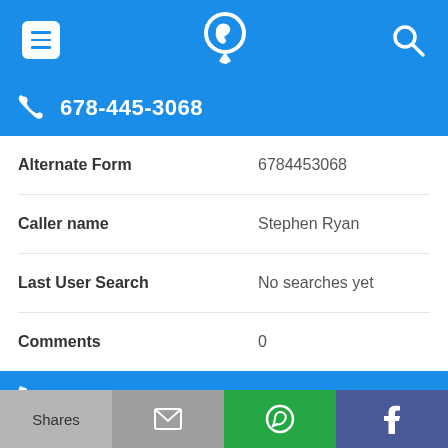[Figure (screenshot): Top navigation bar with menu icon, phone/location logo, and search icon on blue background]
678-445-3068
| Field | Value |
| --- | --- |
| Alternate Form | 6784453068 |
| Caller name | Stephen Ryan |
| Last User Search | No searches yet |
| Comments | 0 |
678-445-3422
Alternate Form   6784453422
[Figure (screenshot): Bottom share bar with Shares button, email icon (grey), WhatsApp icon (green), Facebook icon (dark blue)]